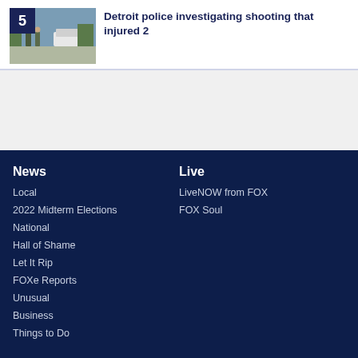[Figure (photo): Thumbnail image of police officers near vehicles, with number badge '5' in top-left corner]
Detroit police investigating shooting that injured 2
[Figure (other): Advertisement area (blank/gray)]
News
Local
2022 Midterm Elections
National
Hall of Shame
Let It Rip
FOXe Reports
Unusual
Business
Things to Do
Live
LiveNOW from FOX
FOX Soul